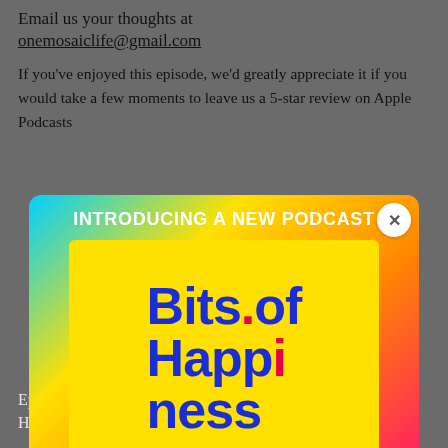Email us your thoughts at onemosaiclife@gmail.com
If you've enjoyed this episode, we'd greatly appreciate it if you would take a few moments to leave us a 5-star review on Apple Podcasts
[Figure (infographic): Popup advertisement for a new podcast called 'Bits of Happiness' with colorful gradient background in blue, yellow, orange, and pink. Features bold blue and red text on yellow box. Header reads 'INTRODUCING A NEW PODCAST', footer reads 'SUBSCRIBE NOW!'. Close button (x) in top right corner.]
Popular Episodes
Episode 128: Laura Formentini — How a Random Act of Kindness